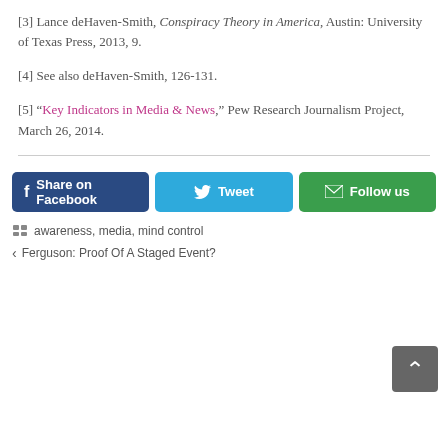[3] Lance deHaven-Smith, Conspiracy Theory in America, Austin: University of Texas Press, 2013, 9.
[4] See also deHaven-Smith, 126-131.
[5] “Key Indicators in Media & News,” Pew Research Journalism Project, March 26, 2014.
awareness, media, mind control
Ferguson: Proof Of A Staged Event?